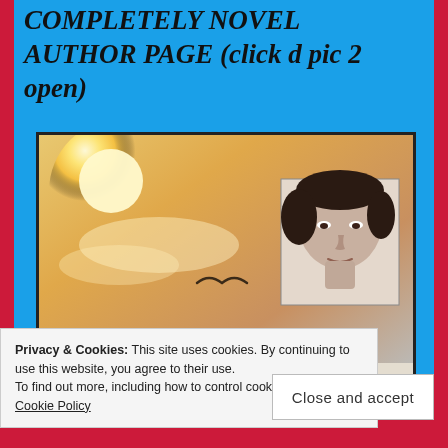COMPLETELY NOVEL AUTHOR PAGE (click d pic 2 open)
[Figure (illustration): Book cover showing a sunset sky with a bird silhouette and an author photo inset (black and white portrait), with the text 'COMPLETELY NOVEL' at the bottom of the cover.]
Privacy & Cookies: This site uses cookies. By continuing to use this website, you agree to their use.
To find out more, including how to control cookies, see here: Cookie Policy
Close and accept